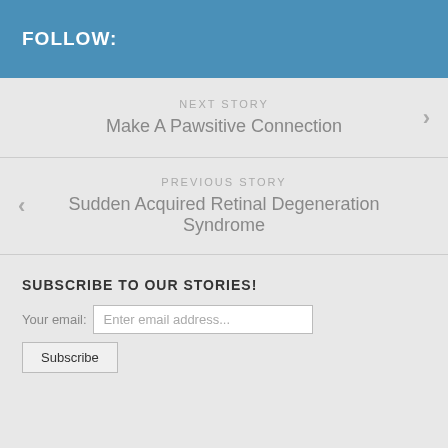FOLLOW:
NEXT STORY
Make A Pawsitive Connection
PREVIOUS STORY
Sudden Acquired Retinal Degeneration Syndrome
SUBSCRIBE TO OUR STORIES!
Your email: Enter email address...
Subscribe